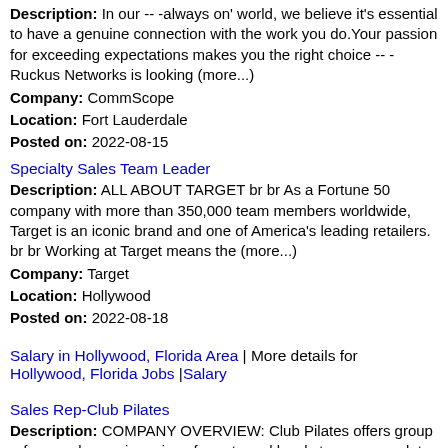Description: In our -- -always on' world, we believe it's essential to have a genuine connection with the work you do.Your passion for exceeding expectations makes you the right choice -- -Ruckus Networks is looking (more...)
Company: CommScope
Location: Fort Lauderdale
Posted on: 2022-08-15
Specialty Sales Team Leader
Description: ALL ABOUT TARGET br br As a Fortune 50 company with more than 350,000 team members worldwide, Target is an iconic brand and one of America's leading retailers. br br Working at Target means the (more...)
Company: Target
Location: Hollywood
Posted on: 2022-08-18
Salary in Hollywood, Florida Area | More details for Hollywood, Florida Jobs |Salary
Sales Rep-Club Pilates
Description: COMPANY OVERVIEW: Club Pilates offers group reformer classes in various formats and levels to accommodate everyone seeking to learn Pilates and hone their fitness expertise. Club Pilates is a well-established, (more...)